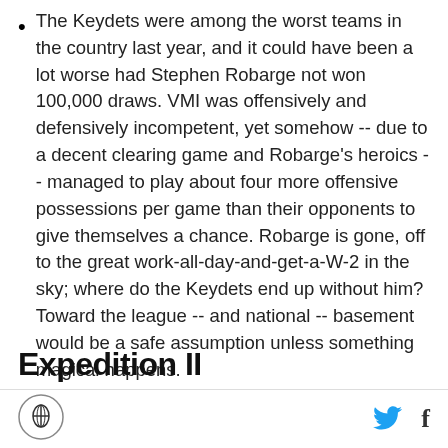The Keydets were among the worst teams in the country last year, and it could have been a lot worse had Stephen Robarge not won 100,000 draws. VMI was offensively and defensively incompetent, yet somehow -- due to a decent clearing game and Robarge's heroics -- managed to play about four more offensive possessions per game than their opponents to give themselves a chance. Robarge is gone, off to the great work-all-day-and-get-a-W-2 in the sky; where do the Keydets end up without him? Toward the league -- and national -- basement would be a safe assumption unless something magical happens.
Expedition II